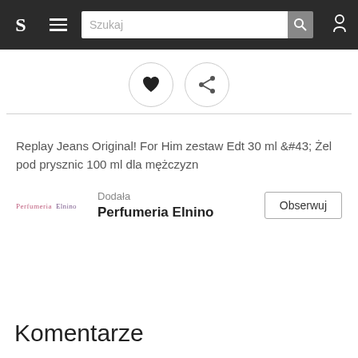S  ≡  Szukaj  🔍  👤
[Figure (infographic): Heart icon button and share icon button in circles]
Replay Jeans Original! For Him zestaw Edt 30 ml &#43; Żel pod prysznic 100 ml dla mężczyzn
Dodała
Perfumeria Elnino  [Obserwuj]
Komentarze